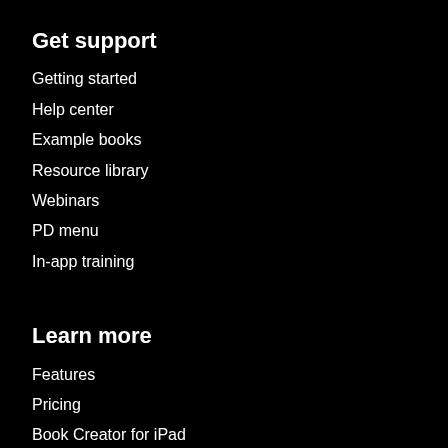Get support
Getting started
Help center
Example books
Resource library
Webinars
PD menu
In-app training
Learn more
Features
Pricing
Book Creator for iPad
About Tools for Schools
The Book Creator story